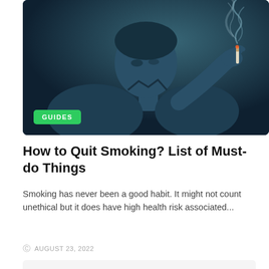[Figure (photo): Person smoking a cigarette, blue-tinted dark photo, smoke visible. Green 'GUIDES' badge overlaid at bottom left.]
How to Quit Smoking? List of Must-do Things
Smoking has never been a good habit. It might not count unethical but it does have high health risk associated...
AUGUST 23, 2022